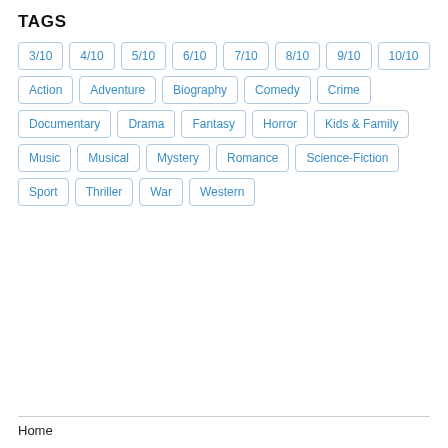TAGS
3/10
4/10
5/10
6/10
7/10
8/10
9/10
10/10
Action
Adventure
Biography
Comedy
Crime
Documentary
Drama
Fantasy
Horror
Kids & Family
Music
Musical
Mystery
Romance
Science-Fiction
Sport
Thriller
War
Western
Home